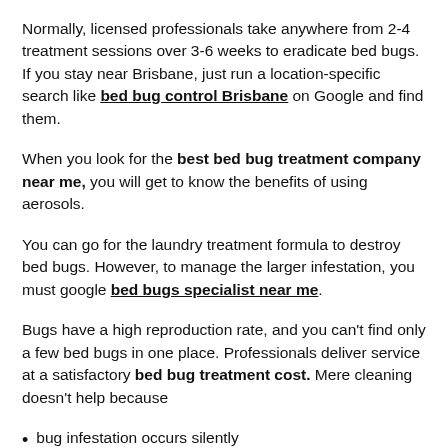Normally, licensed professionals take anywhere from 2-4 treatment sessions over 3-6 weeks to eradicate bed bugs. If you stay near Brisbane, just run a location-specific search like bed bug control Brisbane on Google and find them.
When you look for the best bed bug treatment company near me, you will get to know the benefits of using aerosols.
You can go for the laundry treatment formula to destroy bed bugs. However, to manage the larger infestation, you must google bed bugs specialist near me.
Bugs have a high reproduction rate, and you can't find only a few bed bugs in one place. Professionals deliver service at a satisfactory bed bug treatment cost. Mere cleaning doesn't help because
bug infestation occurs silently